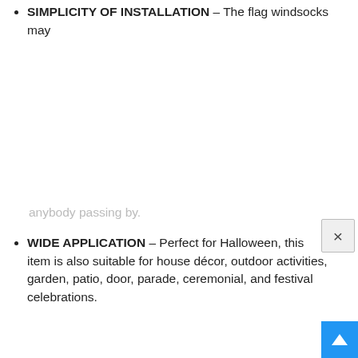SIMPLICITY OF INSTALLATION – The flag windsocks may
anybody passing by.
WIDE APPLICATION – Perfect for Halloween, this item is also suitable for house décor, outdoor activities, garden, patio, door, parade, ceremonial, and festival celebrations.
3. Emopeak Halloween Clown Door Sticker Cover – Creative 3D Sticker Wall Decals for Halloween Party Decoration
[Figure (photo): Product photo of a Halloween clown door sticker cover showing a spooky door with the number 1928, a red balloon, and Halloween decorations.]